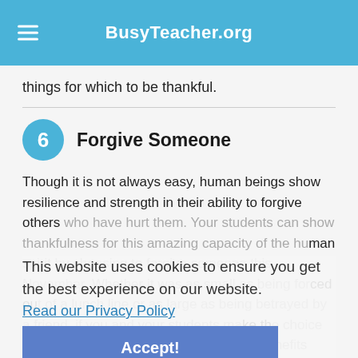BusyTeacher.org
things for which to be thankful.
6  Forgive Someone
Though it is not always easy, human beings show resilience and strength in their ability to forgive others who have hurt them. Your students can show thankfulness for this amazing capacity of the human spirit by choosing to forgive someone this November. Whether it was as small as being forced out of a lunch line or as large as being betrayed by a friend, if you and your students make the choice to forgive someone, you will reap more benefits than you can realize.
This website uses cookies to ensure you get the best experience on our website.
Read our Privacy Policy
Accept!